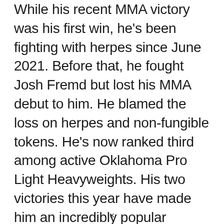While his recent MMA victory was his first win, he's been fighting with herpes since June 2021. Before that, he fought Josh Fremd but lost his MMA debut to him. He blamed the loss on herpes and non-fungible tokens. He's now ranked third among active Oklahoma Pro Light Heavyweights. His two victories this year have made him an incredibly popular fighter, with over 5,000 followers on Twitter.
×